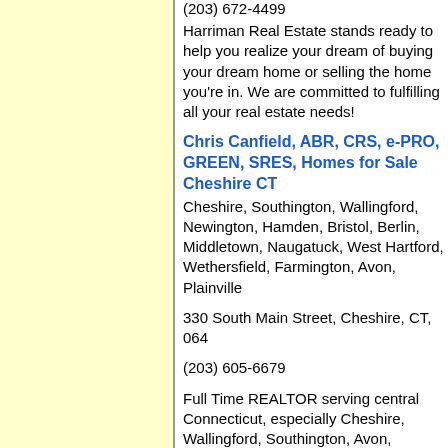(203) 672-4499
Harriman Real Estate stands ready to help you realize your dream of buying your dream home or selling the home you're in. We are committed to fulfilling all your real estate needs!
Chris Canfield, ABR, CRS, e-PRO, GREEN, SRES, Homes for Sale Cheshire CT
Cheshire, Southington, Wallingford, Newington, Hamden, Bristol, Berlin, Middletown, Naugatuck, West Hartford, Wethersfield, Farmington, Avon, Plainville
330 South Main Street, Cheshire, CT, 064
(203) 605-6679
Full Time REALTOR serving central Connecticut, especially Cheshire, Wallingford, Southington, Avon, Farmington, Hamden, Bristol, Berlin, Middletown, Naugatuck, Newington, West Hartford, Wethersfield.
Linda Davis
8 Hurlbutt Drive, Gales Ferry, CT, 06335
(860) 271-8115
I offer a unique perspective of the Eastern Real Estate market. I'm a 30 year veteran the real estate industry and a local elected official. My high tech/high touch team is a